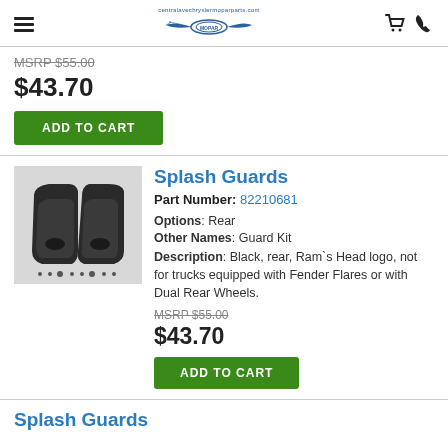centralavechryslermoparparts.com
MSRP $55.00
$43.70
ADD TO CART
[Figure (photo): Pair of black plastic mud flap splash guards]
Splash Guards
Part Number: 82210681
Options: Rear
Other Names: Guard Kit
Description: Black, rear, Ram`s Head logo, not for trucks equipped with Fender Flares or with Dual Rear Wheels.
MSRP $55.00
$43.70
ADD TO CART
Splash Guards